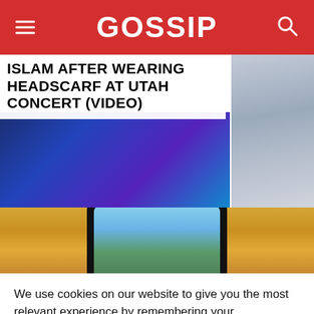GOSSIP
ISLAM AFTER WEARING HEADSCARF AT UTAH CONCERT (VIDEO)
[Figure (photo): Two partial webpage article images: left shows a stage with blue/purple lighting, right shows a person in light blue clothing]
[Figure (photo): A hand holding a smartphone against a yellow/orange background, with a landscape photo visible on the phone screen]
We use cookies on our website to give you the most relevant experience by remembering your preferences and repeat visits. By clicking “Accept”, you consent to the use of ALL the cookies.
Do not sell my personal information.
Cookie Settings    Accept